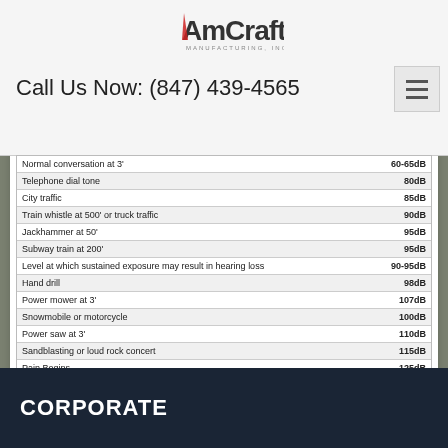[Figure (logo): AmCraft Manufacturing, Inc. logo with red stylized letter A and gray text]
Call Us Now: (847) 439-4565
| Sound Source | Level |
| --- | --- |
| Normal conversation at 3' | 60-65dB |
| Telephone dial tone | 80dB |
| City traffic | 85dB |
| Train whistle at 500' or truck traffic | 90dB |
| Jackhammer at 50' | 95dB |
| Subway train at 200' | 95dB |
| Level at which sustained exposure may result in hearing loss | 90-95dB |
| Hand drill | 98dB |
| Power mower at 3' | 107dB |
| Snowmobile or motorcycle | 100dB |
| Power saw at 3' | 110dB |
| Sandblasting or loud rock concert | 115dB |
| Pain Begins | 125dB |
| Pneumatic riveter at 4' | 125dB |
| Even short term exposure can cause permanent damage - loudest recommended exposure WITH hearing protection | 140dB |
| Jet engine at 100' | 140dB |
| 12 Guage shotgun blast | 165dB |
| Death of hearing tissue | 180dB |
| Loudest sound possible | 194dB |
CORPORATE